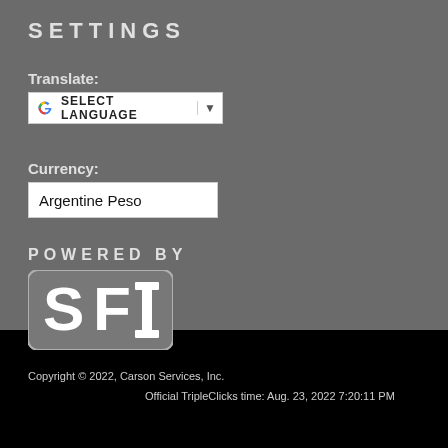SETTINGS
Translate:
[Figure (screenshot): Google Translate widget showing SELECT LANGUAGE dropdown button with Google G logo]
Currency:
Argentine Peso
POWERED BY
[Figure (logo): SFI logo - white rounded rectangle with SFI text on dark background]
Copyright © 2022, Carson Services, Inc.
Official TripleClicks time: Aug. 23, 2022 7:20:11 PM